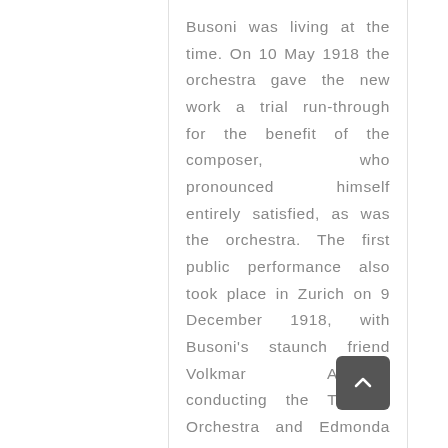Busoni was living at the time. On 10 May 1918 the orchestra gave the new work a trial run-through for the benefit of the composer, who pronounced himself entirely satisfied, as was the orchestra. The first public performance also took place in Zurich on 9 December 1918, with Busoni's staunch friend Volkmar Andreae conducting the Tonhalle Orchestra and Edmonda Allegra playing the solo part. The result was warmly greeted by musicians and audience alike, and since then, to quote